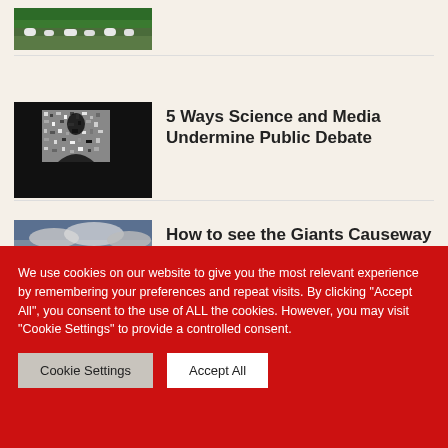[Figure (photo): Sheep grazing in green field with trees in background (partially cropped at top)]
[Figure (photo): Silhouette of person in front of static TV screen on black background]
5 Ways Science and Media Undermine Public Debate
[Figure (photo): Coastal landscape photo of Giants Causeway area with dramatic clouds]
How to see the Giants Causeway on a budget
[Figure (photo): Partially visible image at bottom (cropped)]
We use cookies on our website to give you the most relevant experience by remembering your preferences and repeat visits. By clicking "Accept All", you consent to the use of ALL the cookies. However, you may visit "Cookie Settings" to provide a controlled consent.
Cookie Settings
Accept All